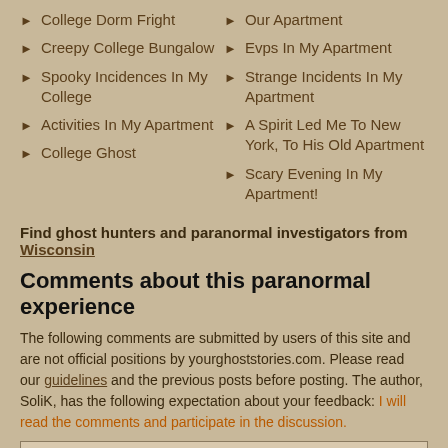College Dorm Fright
Creepy College Bungalow
Spooky Incidences In My College
Activities In My Apartment
College Ghost
Our Apartment
Evps In My Apartment
Strange Incidents In My Apartment
A Spirit Led Me To New York, To His Old Apartment
Scary Evening In My Apartment!
Find ghost hunters and paranormal investigators from Wisconsin
Comments about this paranormal experience
The following comments are submitted by users of this site and are not official positions by yourghoststories.com. Please read our guidelines and the previous posts before posting. The author, SoliK, has the following expectation about your feedback: I will read the comments and participate in the discussion.
| jazzeyjay | 12 years ago |
| --- | --- |
| It could be understood that the atch did... |